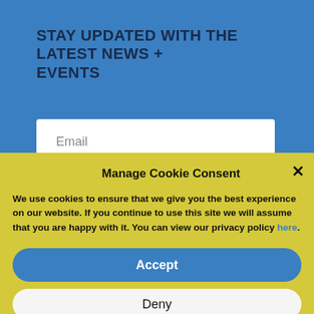STAY UPDATED WITH THE LATEST NEWS + EVENTS
Email
Subscribe
Manage Cookie Consent
We use cookies to ensure that we give you the best experience on our website. If you continue to use this site we will assume that you are happy with it. You can view our privacy policy here.
Accept
Deny